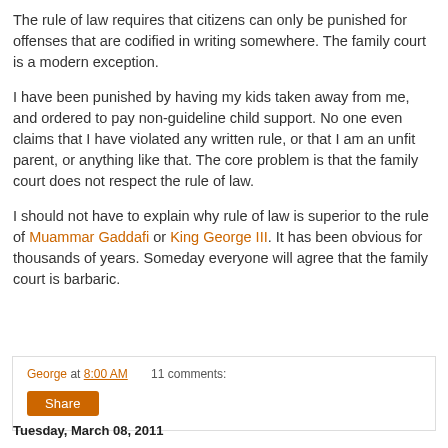The rule of law requires that citizens can only be punished for offenses that are codified in writing somewhere. The family court is a modern exception.
I have been punished by having my kids taken away from me, and ordered to pay non-guideline child support. No one even claims that I have violated any written rule, or that I am an unfit parent, or anything like that. The core problem is that the family court does not respect the rule of law.
I should not have to explain why rule of law is superior to the rule of Muammar Gaddafi or King George III. It has been obvious for thousands of years. Someday everyone will agree that the family court is barbaric.
George at 8:00 AM    11 comments:
Share
Tuesday, March 08, 2011